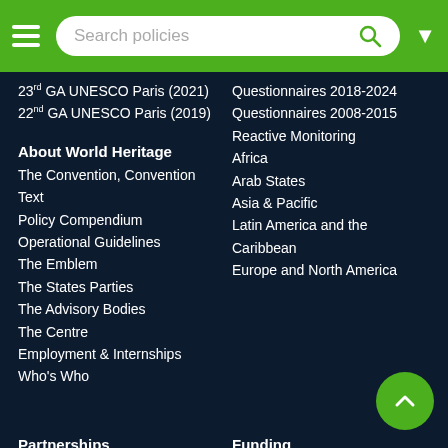Search policies
23rd GA UNESCO Paris (2021)
22nd GA UNESCO Paris (2019)
Questionnaires 2018-2024
Questionnaires 2008-2015
Reactive Monitoring
Africa
Arab States
Asia & Pacific
Latin America and the Caribbean
Europe and North America
About World Heritage
The Convention, Convention Text
Policy Compendium
Operational Guidelines
The Emblem
The States Parties
The Advisory Bodies
The Centre
Employment & Internships
Who's Who
Partnerships
Become a Partner
What Partners Do
Our Partners
Funding
World Heritage Fund
International Assistance